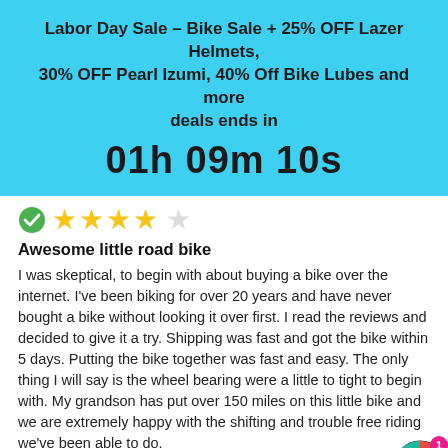Labor Day Sale – Bike Sale + 25% OFF Lazer Helmets, 30% OFF Pearl Izumi, 40% Off Bike Lubes and more deals ends in
01h 09m 10s
[Figure (other): Green checkmark verified icon with 4 yellow star rating]
Awesome little road bike
I was skeptical, to begin with about buying a bike over the internet. I've been biking for over 20 years and have never bought a bike without looking it over first. I read the reviews and decided to give it a try. Shipping was fast and got the bike within 5 days. Putting the bike together was fast and easy. The only thing I will say is the wheel bearing were a little to tight to begin with. My grandson has put over 150 miles on this little bike and we are extremely happy with the shifting and trouble free riding we've been able to do.
Share
Spin t
Chat with us